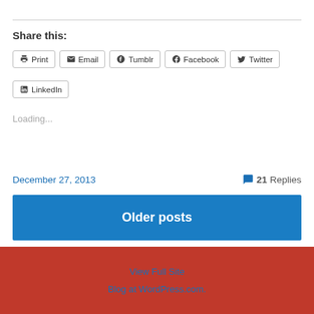Share this:
Print
Email
Tumblr
Facebook
Twitter
LinkedIn
Loading...
December 27, 2013
21 Replies
Older posts
View Full Site
Blog at WordPress.com.